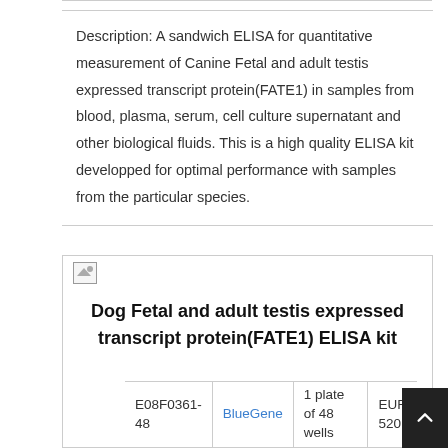Description: A sandwich ELISA for quantitative measurement of Canine Fetal and adult testis expressed transcript protein(FATE1) in samples from blood, plasma, serum, cell culture supernatant and other biological fluids. This is a high quality ELISA kit developped for optimal performance with samples from the particular species.
[Figure (other): Broken image placeholder icon]
Dog Fetal and adult testis expressed transcript protein(FATE1) ELISA kit
| E08F0361-48 | BlueGene | 1 plate of 48 wells | EUR 520 |